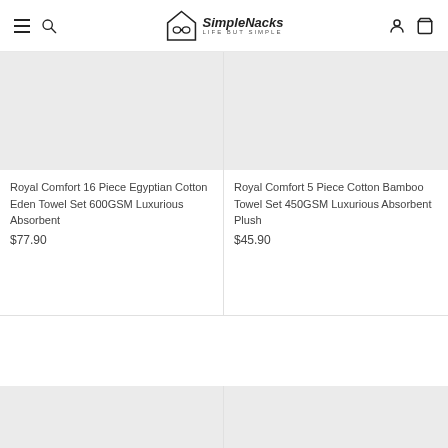SimpleNacks - Life But Simple
[Figure (photo): Product image placeholder - grey background, Royal Comfort 16 Piece Egyptian Cotton Eden Towel Set]
Royal Comfort 16 Piece Egyptian Cotton Eden Towel Set 600GSM Luxurious Absorbent
$77.90
[Figure (photo): Product image placeholder - grey background, Royal Comfort 5 Piece Cotton Bamboo Towel Set]
Royal Comfort 5 Piece Cotton Bamboo Towel Set 450GSM Luxurious Absorbent Plush
$45.90
[Figure (photo): Product image placeholder - grey background, bottom left product]
[Figure (photo): Product image placeholder - grey background, bottom right product]